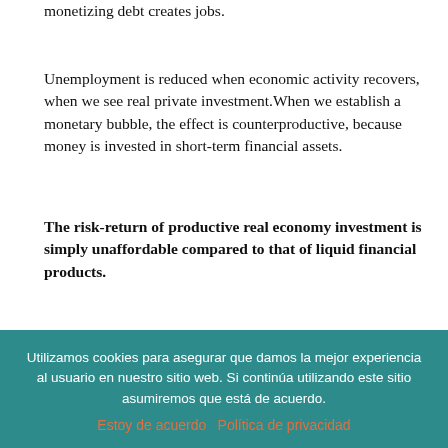monetizing debt creates jobs.
Unemployment is reduced when economic activity recovers, when we see real private investment.When we establish a monetary bubble, the effect is counterproductive, because money is invested in short-term financial assets.
The risk-return of productive real economy investment is simply unaffordable compared to that of liquid financial products.
Central banks will penalize investors for being conservative. But these, in turn, do not put money to work for fifteen years, and less so in real assets, until they see a secure environment and growth opportunities. So money goes to the place that central banks are going to support until their final defeat: financial risk assets.
Utilizamos cookies para asegurar que damos la mejor experiencia al usuario en nuestro sitio web. Si continúa utilizando este sitio asumiremos que está de acuerdo. Estoy de acuerdo  Política de privacidad